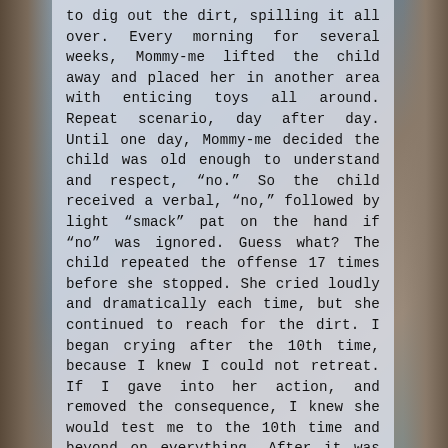to dig out the dirt, spilling it all over. Every morning for several weeks, Mommy-me lifted the child away and placed her in another area with enticing toys all around. Repeat scenario, day after day. Until one day, Mommy-me decided the child was old enough to understand and respect, “no.” So the child received a verbal, “no,” followed by light “smack” pat on the hand if “no” was ignored. Guess what? The child repeated the offense 17 times before she stopped. She cried loudly and dramatically each time, but she continued to reach for the dirt. I began crying after the 10th time, because I knew I could not retreat. If I gave into her action, and removed the consequence, I knew she would test me to the 10th time and beyond on everything. After it was over, and she knew I was serious, she quit. I called my husband at the office, crying. I told him we had a “doozie”- a “17-smacks-on-the-hand-strong-willed-child.” I was trembling. Today she is a blessing. Her home training is not over, but she enjoys life, and we enjoy her.
Take the challenge. Test this out. Find out for